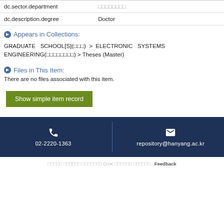| dc.sector.department | □□□□□□□□ |
| dc.description.degree | Doctor |
Appears in Collections:
GRADUATE SCHOOL[S](□□□) > ELECTRONIC SYSTEMS ENGINEERING(□□□□□□□□) > Theses (Master)
Files in This Item:
There are no files associated with this item.
Show simple item record
02-2220-1363  repository@hanyang.ac.kr
□□□□□ □□□□□□ □□□□□□□ OAK □□□□□□ □□□□□□. Feedback